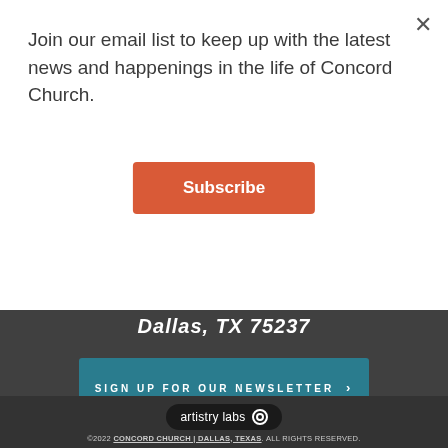Join our email list to keep up with the latest news and happenings in the life of Concord Church.
Subscribe
Dallas, TX 75237
SIGN UP FOR OUR NEWSLETTER >
[Figure (logo): artistry labs logo in black rounded pill shape with circular icon]
©2022 CONCORD CHURCH | DALLAS, TEXAS. ALL RIGHTS RESERVED.